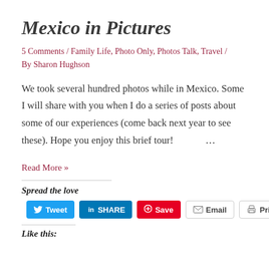Mexico in Pictures
5 Comments / Family Life, Photo Only, Photos Talk, Travel / By Sharon Hughson
We took several hundred photos while in Mexico. Some I will share with you when I do a series of posts about some of our experiences (come back next year to see these). Hope you enjoy this brief tour! …
Read More »
Spread the love
Like this: